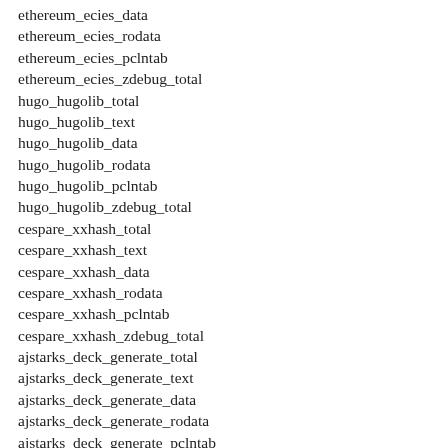ethereum_ecies_data
ethereum_ecies_rodata
ethereum_ecies_pclntab
ethereum_ecies_zdebug_total
hugo_hugolib_total
hugo_hugolib_text
hugo_hugolib_data
hugo_hugolib_rodata
hugo_hugolib_pclntab
hugo_hugolib_zdebug_total
cespare_xxhash_total
cespare_xxhash_text
cespare_xxhash_data
cespare_xxhash_rodata
cespare_xxhash_pclntab
cespare_xxhash_zdebug_total
ajstarks_deck_generate_total
ajstarks_deck_generate_text
ajstarks_deck_generate_data
ajstarks_deck_generate_rodata
ajstarks_deck_generate_pclntab
ajstarks_deck_generate_zdebug_total
shopify_sarama_total